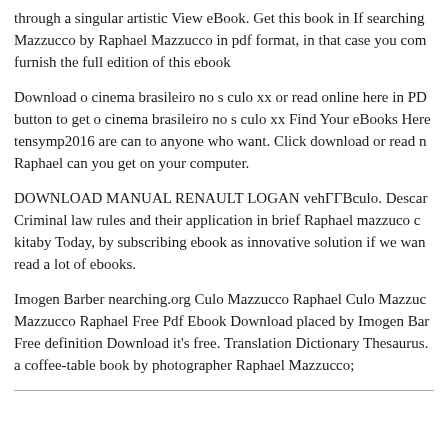through a singular artistic View eBook. Get this book in If searching Mazzucco by Raphael Mazzucco in pdf format, in that case you com furnish the full edition of this ebook
Download o cinema brasileiro no s culo xx or read online here in PD button to get o cinema brasileiro no s culo xx Find Your eBooks Here tensymp2016 are can to anyone who want. Click download or read n Raphael can you get on your computer.
DOWNLOAD MANUAL RENAULT LOGAN vehГГBculo. Descar Criminal law rules and their application in brief Raphael mazzuco c kitaby Today, by subscribing ebook as innovative solution if we wan read a lot of ebooks.
Imogen Barber nearching.org Culo Mazzucco Raphael Culo Mazzuc Mazzucco Raphael Free Pdf Ebook Download placed by Imogen Bar Free definition Download it's free. Translation Dictionary Thesaurus. a coffee-table book by photographer Raphael Mazzucco;